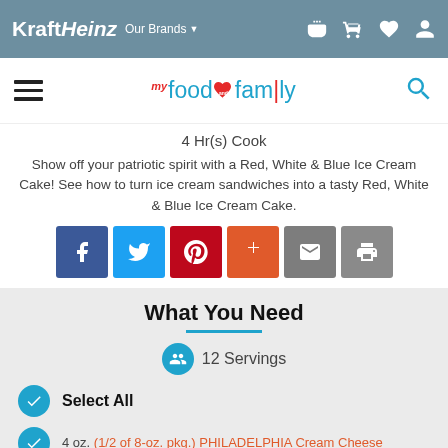KraftHeinz  Our Brands
[Figure (logo): My Food and Family logo with hamburger menu and search icon]
4 Hr(s) Cook
Show off your patriotic spirit with a Red, White & Blue Ice Cream Cake! See how to turn ice cream sandwiches into a tasty Red, White & Blue Ice Cream Cake.
[Figure (infographic): Social sharing buttons: Facebook, Twitter, Pinterest, Google+, Email, Print]
What You Need
12 Servings
Select All
4 oz. (1/2 of 8-oz. pkg.) PHILADELPHIA Cream Cheese